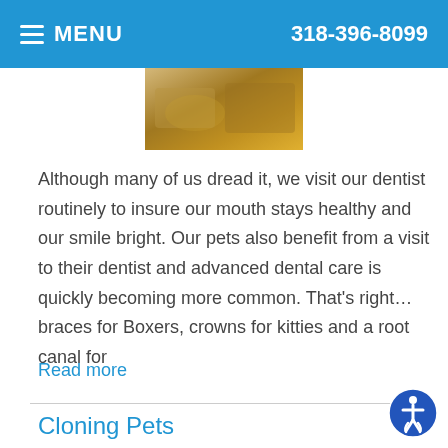MENU  318-396-8099
[Figure (photo): Close-up photo of teeth/dental work, partially visible at top of page]
Although many of us dread it, we visit our dentist routinely to insure our mouth stays healthy and our smile bright. Our pets also benefit from a visit to their dentist and advanced dental care is quickly becoming more common. That's right…braces for Boxers, crowns for kitties and a root canal for
Read more
Cloning Pets
Category: Video Newsroom, Technology and Science
[Figure (photo): Partial photo of a person, bottom of page]